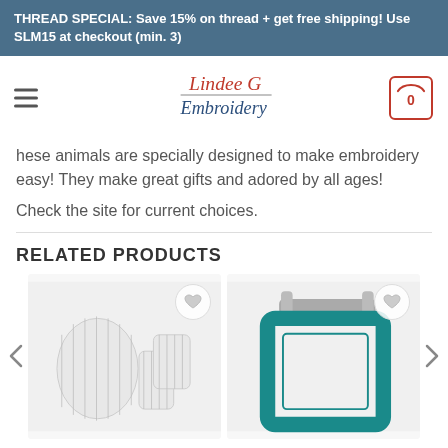THREAD SPECIAL: Save 15% on thread + get free shipping! Use SLM15 at checkout (min. 3)
[Figure (logo): Lindee G Embroidery logo with cursive red and blue text]
These animals are specially designed to make embroidery easy! They make great gifts and adored by all ages!
Check the site for current choices.
RELATED PRODUCTS
[Figure (photo): Product photo showing embroidery stabilizer rolls on light gray background]
[Figure (photo): Product photo showing embroidery hoop frame in teal/dark cyan color on light gray background]